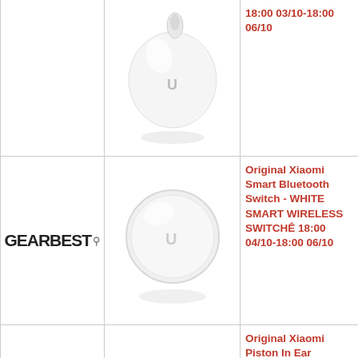[Figure (photo): White wireless earbud/earphone product image]
18:00 03/10-18:00 06/10
[Figure (logo): GearBest logo with male symbol]
[Figure (photo): Xiaomi Smart Bluetooth Switch - white round device]
Original Xiaomi Smart Bluetooth Switch - WHITE SMART WIRELESS SWITCHÊ 18:00 04/10-18:00 06/10
[Figure (logo): GearBest logo with male symbol]
[Figure (photo): Xiaomi Piston In Ear Earphones - black]
Original Xiaomi Piston In Ear Earphones Fresh Version - BLACK terminő 18:00 06/10